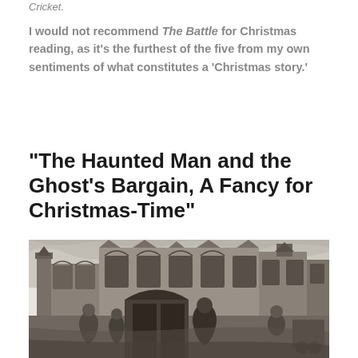Cricket.
I would not recommend The Battle for Christmas reading, as it’s the furthest of the five from my own sentiments of what constitutes a ‘Christmas story.’
“The Haunted Man and the Ghost’s Bargain, A Fancy for Christmas-Time”
[Figure (illustration): A detailed black and white engraving depicting a Victorian-era building exterior with figures visible, resembling a Charles Dickens Christmas book illustration.]